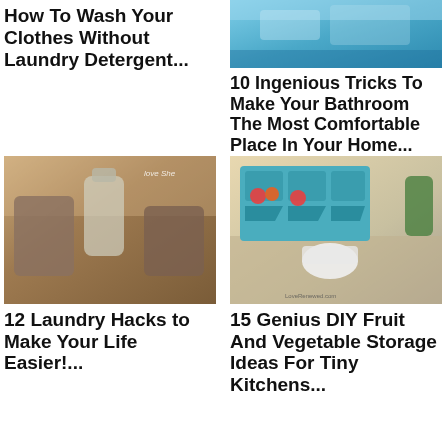How To Wash Your Clothes Without Laundry Detergent...
[Figure (photo): Blue denim jeans fabric texture photo (cropped top)]
10 Ingenious Tricks To Make Your Bathroom The Most Comfortable Place In Your Home...
[Figure (photo): Laundry detergent bottles with towels in a basket — LoveShe branded image]
12 Laundry Hacks to Make Your Life Easier!...
[Figure (photo): Teal wall-mounted fruit and vegetable storage bins with produce — LoveRenewed.com]
15 Genius DIY Fruit And Vegetable Storage Ideas For Tiny Kitchens...